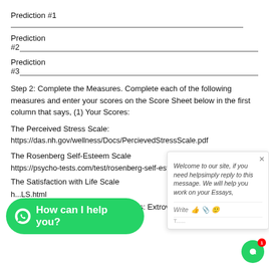Prediction #1 _______________________________________________
Prediction
#2_______________________________________________
Prediction
#3_______________________________________________
Step 2: Complete the Measures. Complete each of the following measures and enter your scores on the Score Sheet below in the first column that says, (1) Your Scores:
The Perceived Stress Scale:
https://das.nh.gov/wellness/Docs/PercievedStressScale.pdf
The Rosenberg Self-Esteem Scale
https://psycho-tests.com/test/rosenberg-self-esteem-scale
The Satisfaction with Life Scale
h...LS.html
The Big 5 (provides 5 subscale scores: Extroversion, Agreeableness,